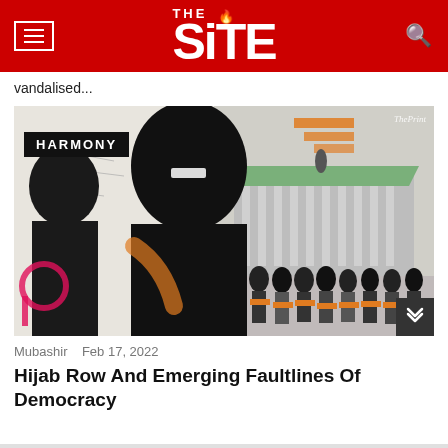THE SITE
vandalised...
[Figure (photo): Composite editorial image showing women in niqab on the left and a group of people wearing orange scarves on the right, with a government building in the background. Labeled 'HARMONY' in top left and 'ThePrint' in top right.]
Mubashir   Feb 17, 2022
Hijab Row And Emerging Faultlines Of Democracy